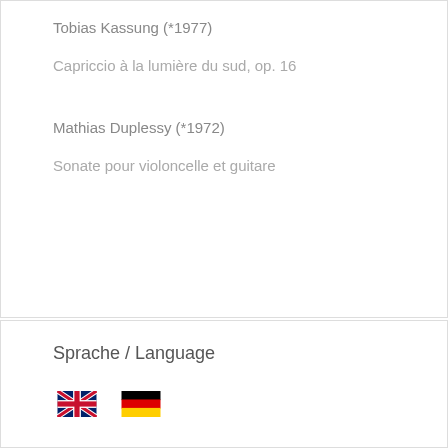Tobias Kassung (*1977)
Capriccio à la lumière du sud, op. 16
Mathias Duplessy (*1972)
Sonate pour violoncelle et guitare
Sprache / Language
[Figure (illustration): UK flag and German flag icons side by side]